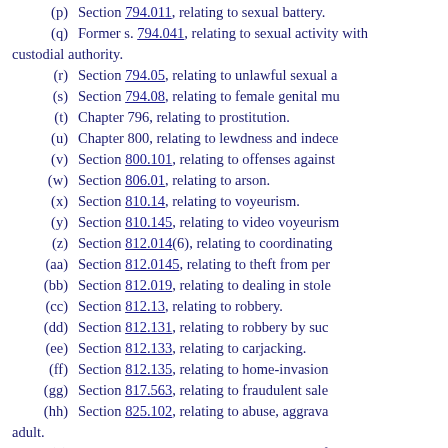(p) Section 794.011, relating to sexual battery.
(q) Former s. 794.041, relating to sexual activity with custodial authority.
(r) Section 794.05, relating to unlawful sexual a
(s) Section 794.08, relating to female genital mu
(t) Chapter 796, relating to prostitution.
(u) Chapter 800, relating to lewdness and indece
(v) Section 800.101, relating to offenses against
(w) Section 806.01, relating to arson.
(x) Section 810.14, relating to voyeurism.
(y) Section 810.145, relating to video voyeurism
(z) Section 812.014(6), relating to coordinating
(aa) Section 812.0145, relating to theft from per
(bb) Section 812.019, relating to dealing in stole
(cc) Section 812.13, relating to robbery.
(dd) Section 812.131, relating to robbery by suc
(ee) Section 812.133, relating to carjacking.
(ff) Section 812.135, relating to home-invasion
(gg) Section 817.563, relating to fraudulent sale
(hh) Section 825.102, relating to abuse, aggrava adult.
(ii) Section 825.103, relating to exploitation of a
(jj) Section 825.1025, relating to lewd or lascivi